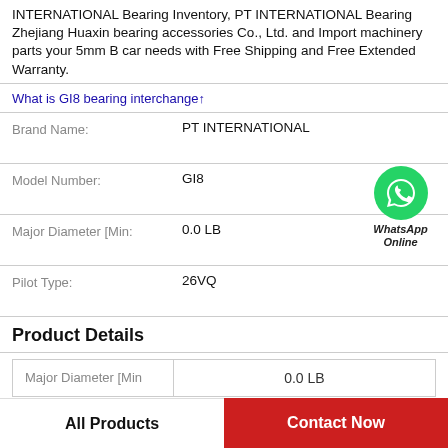INTERNATIONAL Bearing Inventory, PT INTERNATIONAL Bearing Zhejiang Huaxin bearing accessories Co., Ltd. and Import machinery parts your 5mm B car needs with Free Shipping and Free Extended Warranty.
What is GI8 bearing interchange↑
| Brand Name: | PT INTERNATIONAL |
| Model Number: | GI8 |
| Major Diameter [Min: | 0.0 LB |
| Pilot Type: | 26VQ |
[Figure (logo): WhatsApp Online green circle icon with phone symbol and text WhatsApp Online]
Product Details
| Major Diameter [Min | 0.0 LB |
All Products
Contact Now